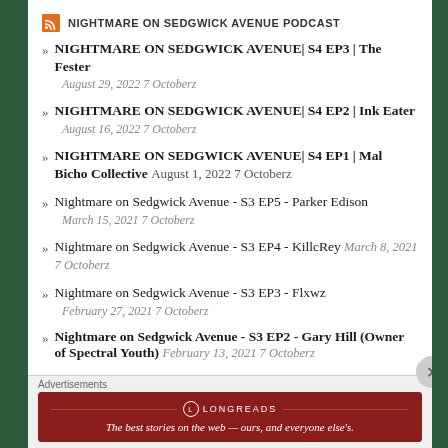NIGHTMARE ON SEDGWICK AVENUE PODCAST
NIGHTMARE ON SEDGWICK AVENUE| S4 EP3 | The Fester — August 29, 2022 7 Octoberz
NIGHTMARE ON SEDGWICK AVENUE| S4 EP2 | Ink Eater — August 16, 2022 7 Octoberz
NIGHTMARE ON SEDGWICK AVENUE| S4 EP1 | Mal Bicho Collective — August 1, 2022 7 Octoberz
Nightmare on Sedgwick Avenue - S3 EP5 - Parker Edison — March 15, 2021 7 Octoberz
Nightmare on Sedgwick Avenue - S3 EP4 - KillcRey — March 8, 2021 7 Octoberz
Nightmare on Sedgwick Avenue - S3 EP3 - Flxwz — February 27, 2021 7 Octoberz
Nightmare on Sedgwick Avenue - S3 EP2 - Gary Hill (Owner of Spectral Youth) — February 13, 2021 7 Octoberz
Advertisements
[Figure (other): Longreads advertisement banner: The best stories on the web — ours, and everyone else's.]